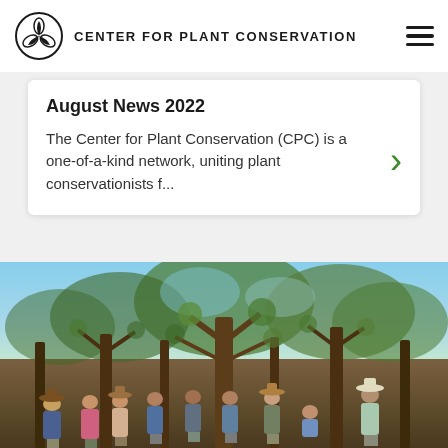CENTER FOR PLANT CONSERVATION
August News 2022
The Center for Plant Conservation (CPC) is a one-of-a-kind network, uniting plant conservationists f...
[Figure (photo): Group of approximately 9 people standing outdoors in a dry scrubland area with bare trees and blue sky, appearing to be a field conservation team.]